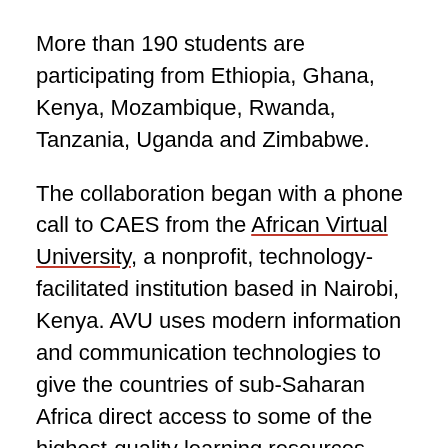More than 190 students are participating from Ethiopia, Ghana, Kenya, Mozambique, Rwanda, Tanzania, Uganda and Zimbabwe.
The collaboration began with a phone call to CAES from the African Virtual University, a nonprofit, technology-facilitated institution based in Nairobi, Kenya. AVU uses modern information and communication technologies to give the countries of sub-Saharan Africa direct access to some of the highest-quality learning resources from around the world.
COURSE BASED ON 1.00
CAES put together a six-week curriculum loosely